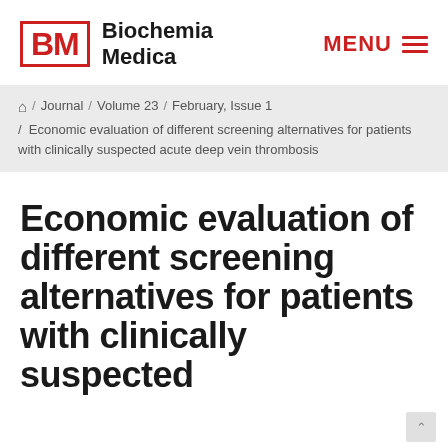BM | Biochemia Medica — MENU
Home / Journal / Volume 23 / February, Issue 1 / Economic evaluation of different screening alternatives for patients with clinically suspected acute deep vein thrombosis
Economic evaluation of different screening alternatives for patients with clinically suspected